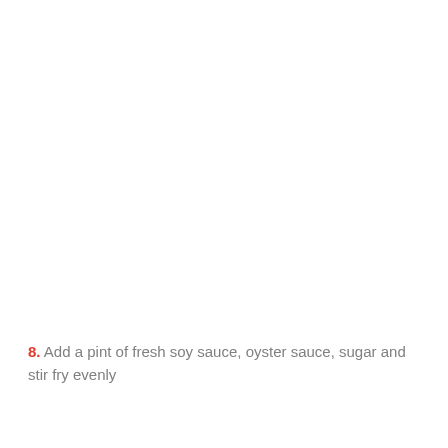8. Add a pint of fresh soy sauce, oyster sauce, sugar and stir fry evenly